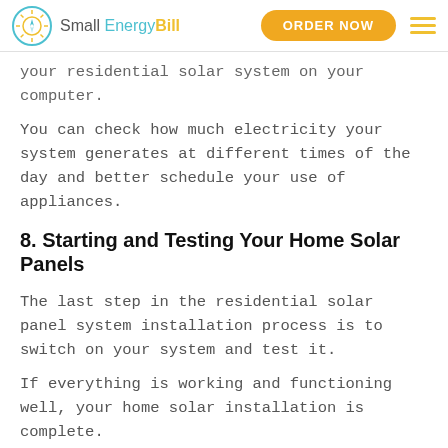Small Energy Bill | ORDER NOW
your residential solar system on your computer.
You can check how much electricity your system generates at different times of the day and better schedule your use of appliances.
8. Starting and Testing Your Home Solar Panels
The last step in the residential solar panel system installation process is to switch on your system and test it.
If everything is working and functioning well, your home solar installation is complete.
How Much Does it Cost to Install Residential Solar Panels in California?
Over a million households in the U.S. have now switched to solar panels to power their homes with free, clean energy generated by the sun.